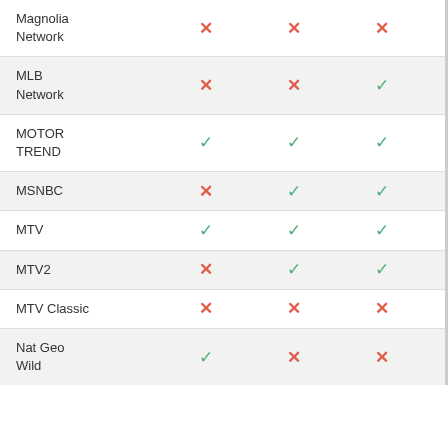| Channel | Col1 | Col2 | Col3 |
| --- | --- | --- | --- |
| Magnolia Network | ✗ | ✗ | ✗ |
| MLB Network | ✗ | ✗ | ✓ |
| MOTOR TREND | ✓ | ✓ | ✓ |
| MSNBC | ✗ | ✓ | ✓ |
| MTV | ✓ | ✓ | ✓ |
| MTV2 | ✗ | ✓ | ✓ |
| MTV Classic | ✗ | ✗ | ✗ |
| Nat Geo Wild | ✓ | ✗ | ✗ |